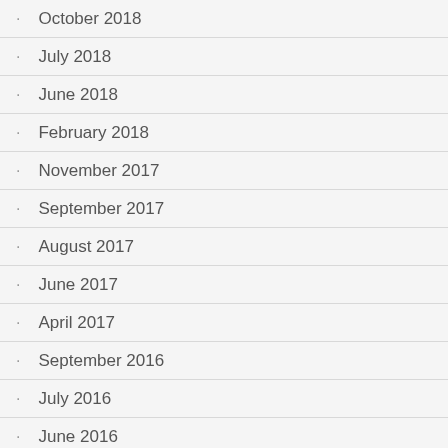October 2018
July 2018
June 2018
February 2018
November 2017
September 2017
August 2017
June 2017
April 2017
September 2016
July 2016
June 2016